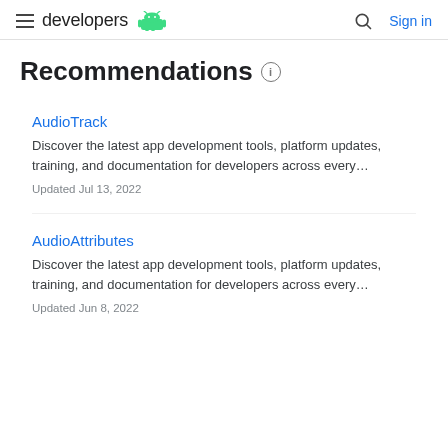developers | Sign in
Recommendations
AudioTrack
Discover the latest app development tools, platform updates, training, and documentation for developers across every…
Updated Jul 13, 2022
AudioAttributes
Discover the latest app development tools, platform updates, training, and documentation for developers across every…
Updated Jun 8, 2022